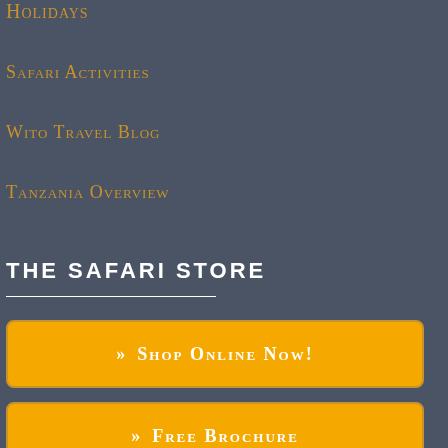Holidays
Safari Activities
Wito Travel Blog
Tanzania Overview
THE SAFARI STORE
» Shop Online Now!
» Free Brochure